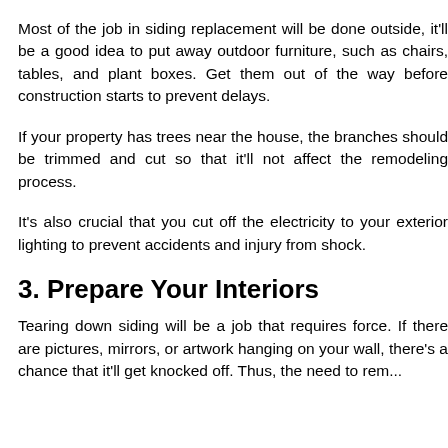Most of the job in siding replacement will be done outside, it'll be a good idea to put away outdoor furniture, such as chairs, tables, and plant boxes. Get them out of the way before construction starts to prevent delays.
If your property has trees near the house, the branches should be trimmed and cut so that it'll not affect the remodeling process.
It's also crucial that you cut off the electricity to your exterior lighting to prevent accidents and injury from shock.
3. Prepare Your Interiors
Tearing down siding will be a job that requires force. If there are pictures, mirrors, or artwork hanging on your wall, there's a chance that it'll get knocked off. Thus, the need to remove them from the walls.